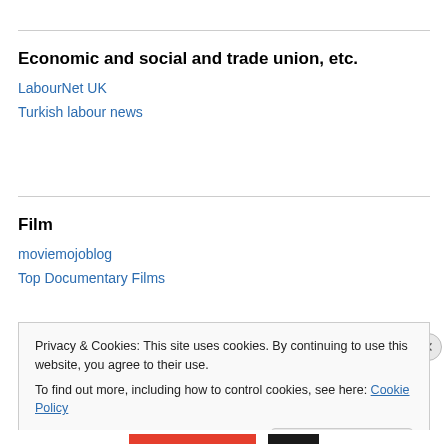Economic and social and trade union, etc.
LabourNet UK
Turkish labour news
Film
moviemojoblog
Top Documentary Films
Privacy & Cookies: This site uses cookies. By continuing to use this website, you agree to their use.
To find out more, including how to control cookies, see here: Cookie Policy